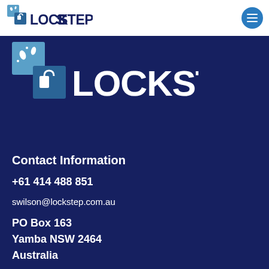[Figure (logo): Lockstep logo in header bar on white background]
[Figure (logo): Large Lockstep logo on dark navy background]
Contact Information
+61 414 488 851
swilson@lockstep.com.au
PO Box 163
Yamba NSW 2464
Australia